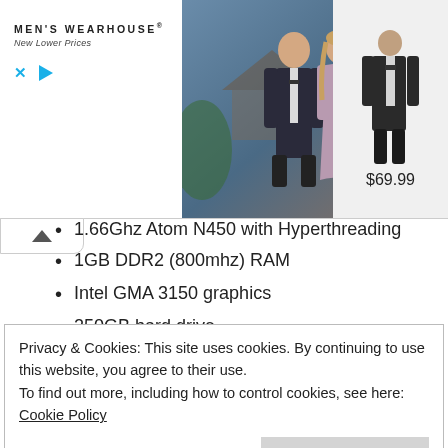[Figure (photo): Men's Wearhouse advertisement banner showing a couple in formalwear (man in dark suit, woman in evening dress) and a smaller image of a suit, with price $69.99. Includes close (X) and play controls.]
1.66Ghz Atom N450 with Hyperthreading
1GB DDR2 (800mhz) RAM
Intel GMA 3150 graphics
250GB hard drive
3x USB 2.0
6 cell 4400mAH battery
Windows 7 Starter
I have to say, I'm seriously impressed with the machine. I
Privacy & Cookies: This site uses cookies. By continuing to use this website, you agree to their use.
To find out more, including how to control cookies, see here: Cookie Policy
The battery life is brilliant. Before I upgraded the RAM, it